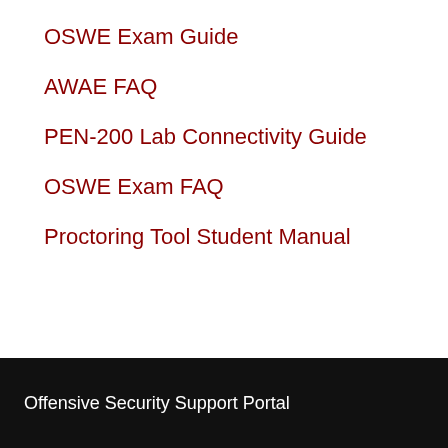OSWE Exam Guide
AWAE FAQ
PEN-200 Lab Connectivity Guide
OSWE Exam FAQ
Proctoring Tool Student Manual
Offensive Security Support Portal